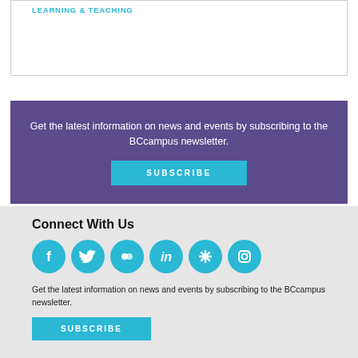LEARNING & TEACHING
[Figure (infographic): Purple banner with text and subscribe button for BCcampus newsletter]
Get the latest information on news and events by subscribing to the BCcampus newsletter.
Connect With Us
[Figure (infographic): Row of 6 social media icons: Facebook, Twitter, Flickr, LinkedIn, unknown, Instagram — all cyan/blue circles]
Get the latest information on news and events by subscribing to the BCcampus newsletter.